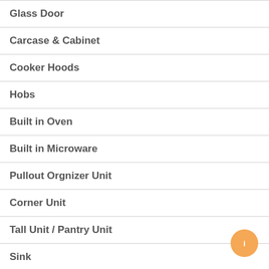Glass Door
Carcase & Cabinet
Cooker Hoods
Hobs
Built in Oven
Built in Microware
Pullout Orgnizer Unit
Corner Unit
Tall Unit / Pantry Unit
Sink
Waste Bin